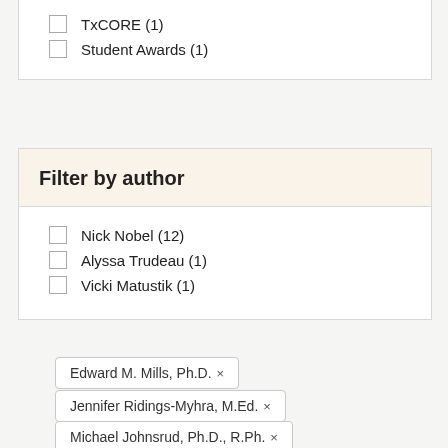TxCORE (1)
Student Awards (1)
Filter by author
Nick Nobel (12)
Alyssa Trudeau (1)
Vicki Matustik (1)
Edward M. Mills, Ph.D. ×
Jennifer Ridings-Myhra, M.Ed. ×
Michael Johnsrud, Ph.D., R.Ph. ×